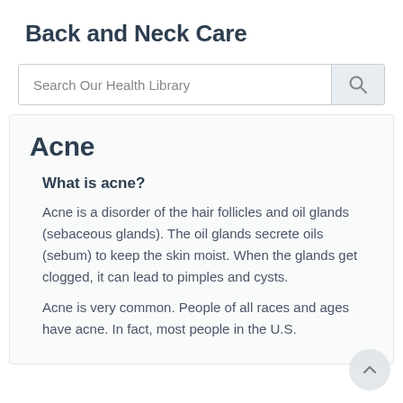Back and Neck Care
Search Our Health Library
Acne
What is acne?
Acne is a disorder of the hair follicles and oil glands (sebaceous glands). The oil glands secrete oils (sebum) to keep the skin moist. When the glands get clogged, it can lead to pimples and cysts.
Acne is very common. People of all races and ages have acne. In fact, most people in the U.S.